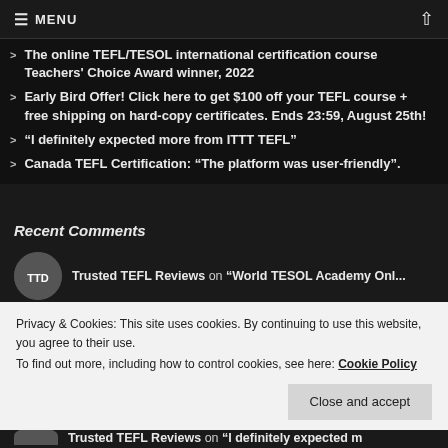≡ MENU  ↑
The online TEFL/TESOL international certification course Teachers' Choice Award winner, 2022
Early Bird Offer! Click here to get $100 off your TEFL course + free shipping on hard-copy certificates. Ends 23:59, August 25th!
“I definitely expected more from ITTT TEFL”
Canada TEFL Certification: “The platform was user-friendly”.
Recent Comments
Trusted TEFL Reviews on “World TESOL Academy Onl...
Privacy & Cookies: This site uses cookies. By continuing to use this website, you agree to their use.
To find out more, including how to control cookies, see here: Cookie Policy
Close and accept
Trusted TEFL Reviews on “I definitely expected m